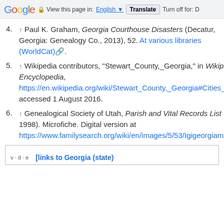Google | View this page in: English | Translate | Turn off for: D
4. ↑ Paul K. Graham, Georgia Courthouse Disasters (Decatur, Georgia: Genealogy Co., 2013), 52. At various libraries (WorldCat).
5. ↑ Wikipedia contributors, "Stewart_County,_Georgia," in Wikipedia: the Free Encyclopedia, https://en.wikipedia.org/wiki/Stewart_County,_Georgia#Cities_and_communities, accessed 1 August 2016.
6. ↑ Genealogical Society of Utah, Parish and Vital Records List (July 1998). Microfiche. Digital version at https://www.familysearch.org/wiki/en/images/5/53/Igigeorgiamz.pdf.
| v · d · e | [links to Georgia (state) |